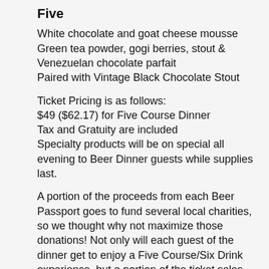Five
White chocolate and goat cheese mousse
Green tea powder, gogi berries, stout &
Venezuelan chocolate parfait
Paired with Vintage Black Chocolate Stout
Ticket Pricing is as follows:
$49 ($62.17) for Five Course Dinner
Tax and Gratuity are included
Specialty products will be on special all evening to Beer Dinner guests while supplies last.
A portion of the proceeds from each Beer Passport goes to fund several local charities, so we thought why not maximize those donations! Not only will each guest of the dinner get to enjoy a Five Course/Six Drink experience, but a portion of the ticket sales will benefit The River Fund New York, Inc. Guests of the dinner will also each receive one raffle ticket to enter our silent